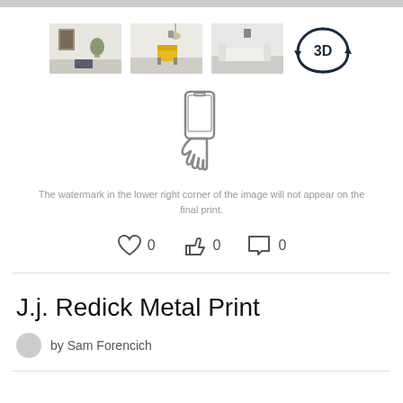[Figure (screenshot): Three room scene thumbnail images and a 3D view icon arranged in a row]
[Figure (illustration): Hand holding a smartphone outline icon]
The watermark in the lower right corner of the image will not appear on the final print.
[Figure (infographic): Social interaction icons: heart (0), thumbs up (0), comment (0)]
J.j. Redick Metal Print
by Sam Forencich